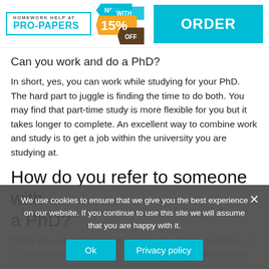[Figure (logo): Pro-Papers homework help header banner with logo, 15% off badge, and ORDER button]
Can you work and do a PhD?
In short, yes, you can work while studying for your PhD. The hard part to juggle is finding the time to do both. You may find that part-time study is more flexible for you but it takes longer to complete. An excellent way to combine work and study is to get a job within the university you are studying at.
How do you refer to someone with a PhD?
When you are addressing a person with a doctoral degree, it is considered more polite to use the title Dr. or the academic
We use cookies to ensure that we give you the best experience on our website. If you continue to use this site we will assume that you are happy with it.